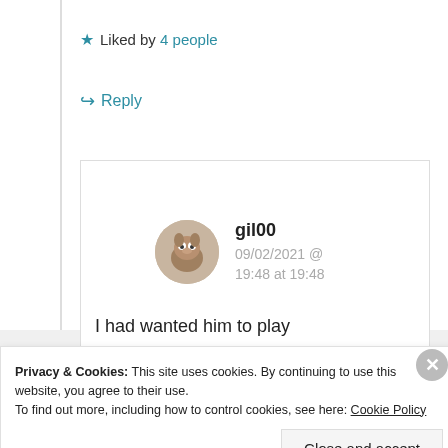★ Liked by 4 people
↪ Reply
gil00
09/02/2021 @ 19:48 at 19:48
I had wanted him to play
Privacy & Cookies: This site uses cookies. By continuing to use this website, you agree to their use.
To find out more, including how to control cookies, see here: Cookie Policy
Close and accept